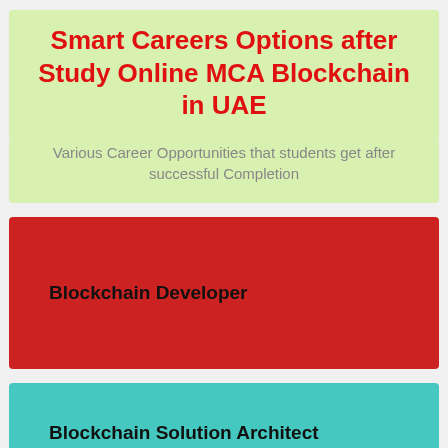Smart Careers Options after Study Online MCA Blockchain in UAE
Various Career Opportunities that students get after successful Completion
Blockchain Developer
Blockchain Solution Architect